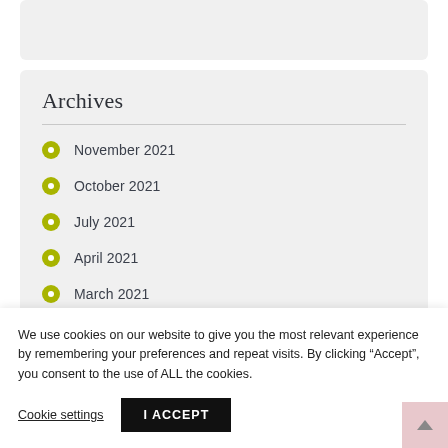Archives
November 2021
October 2021
July 2021
April 2021
March 2021
November 2020
We use cookies on our website to give you the most relevant experience by remembering your preferences and repeat visits. By clicking “Accept”, you consent to the use of ALL the cookies.
Cookie settings | I ACCEPT